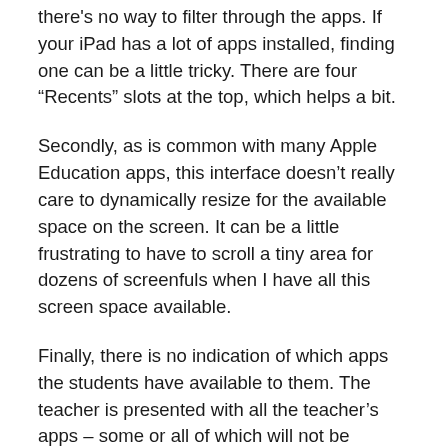there's no way to filter through the apps. If your iPad has a lot of apps installed, finding one can be a little tricky. There are four “Recents” slots at the top, which helps a bit.
Secondly, as is common with many Apple Education apps, this interface doesn’t really care to dynamically resize for the available space on the screen. It can be a little frustrating to have to scroll a tiny area for dozens of screenfuls when I have all this screen space available.
Finally, there is no indication of which apps the students have available to them. The teacher is presented with all the teacher’s apps – some or all of which will not be available to the pupils. Classroom actually handles this situation gracefully – by quickly failing with a useful error message – but it does seem rather pointless to provide